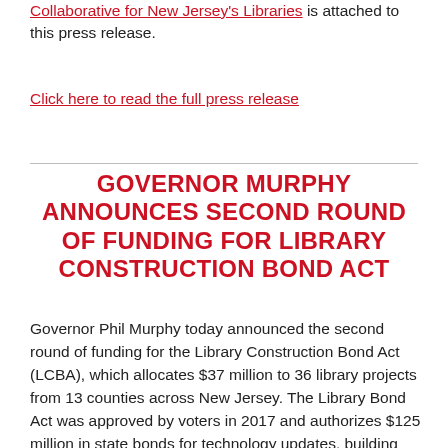Collaborative for New Jersey's Libraries is attached to this press release.
Click here to read the full press release
GOVERNOR MURPHY ANNOUNCES SECOND ROUND OF FUNDING FOR LIBRARY CONSTRUCTION BOND ACT
Governor Phil Murphy today announced the second round of funding for the Library Construction Bond Act (LCBA), which allocates $37 million to 36 library projects from 13 counties across New Jersey. The Library Bond Act was approved by voters in 2017 and authorizes $125 million in state bonds for technology updates, building improvements, and other library projects across the state.